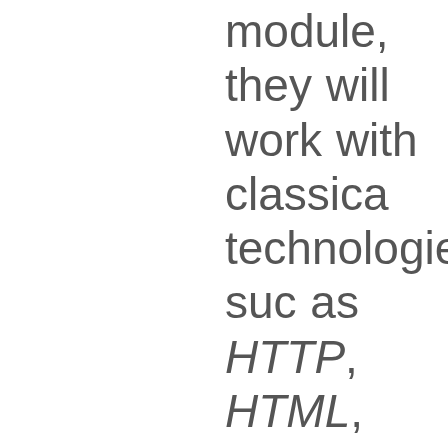module, they will work with classical technologies such as HTTP, HTML, DNS, JavaScript, CSS, Web Services and will understand their interdependencies. In the second part more recent and novel technologies and concepts will